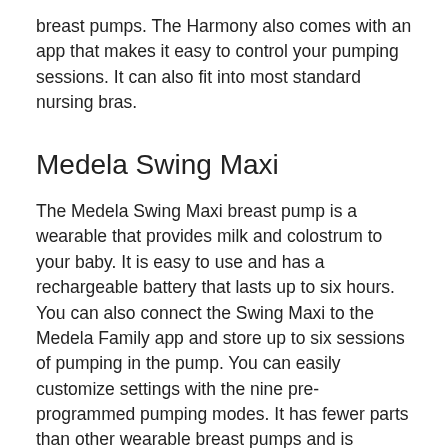breast pumps. The Harmony also comes with an app that makes it easy to control your pumping sessions. It can also fit into most standard nursing bras.
Medela Swing Maxi
The Medela Swing Maxi breast pump is a wearable that provides milk and colostrum to your baby. It is easy to use and has a rechargeable battery that lasts up to six hours. You can also connect the Swing Maxi to the Medela Family app and store up to six sessions of pumping in the pump. You can easily customize settings with the nine pre-programmed pumping modes. It has fewer parts than other wearable breast pumps and is designed for convenience.